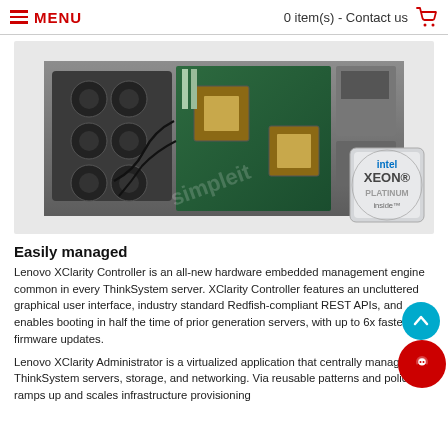MENU   0 item(s) - Contact us
[Figure (photo): Open Lenovo ThinkSystem server chassis showing motherboard with Intel Xeon Platinum processors installed, with an Intel Xeon Platinum Inside badge in the lower right corner]
Easily managed
Lenovo XClarity Controller is an all-new hardware embedded management engine common in every ThinkSystem server. XClarity Controller features an uncluttered graphical user interface, industry standard Redfish-compliant REST APIs, and enables booting in half the time of prior generation servers, with up to 6x faster firmware updates.
Lenovo XClarity Administrator is a virtualized application that centrally manages ThinkSystem servers, storage, and networking. Via reusable patterns and policies, it ramps up and scales infrastructure provisioning to be enterprise-ready, more consistent, less intrusive, and reduces overall management complexity.